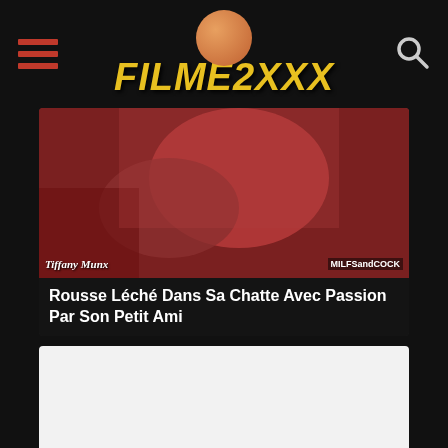FILME2XXX
[Figure (photo): Video thumbnail for 'Rousse Léché Dans Sa Chatte Avec Passion Par Son Petit Ami' with watermarks 'Tiffany Munx' and 'MILFSandCOCK']
Rousse Léché Dans Sa Chatte Avec Passion Par Son Petit Ami
[Figure (photo): Blank white video thumbnail for 'Miss Bia Mastroianni Transsexuelle Et Kevin Réalisé Par Roby']
Miss Bia Mastroianni Transsexuelle Et Kevin Réalisé Par Roby
[Figure (photo): Partially visible third video thumbnail at the bottom of the page]